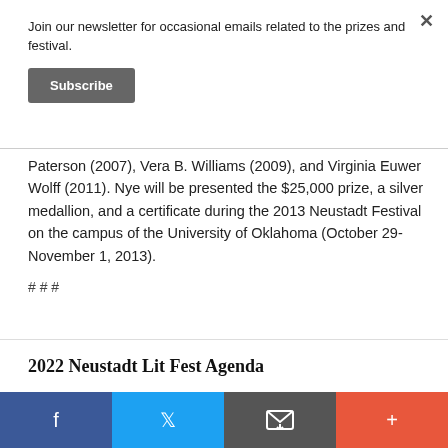Join our newsletter for occasional emails related to the prizes and festival.
Subscribe
Paterson (2007), Vera B. Williams (2009), and Virginia Euwer Wolff (2011). Nye will be presented the $25,000 prize, a silver medallion, and a certificate during the 2013 Neustadt Festival on the campus of the University of Oklahoma (October 29-November 1, 2013).
# # #
2022 Neustadt Lit Fest Agenda
Facebook | Twitter | Email | +